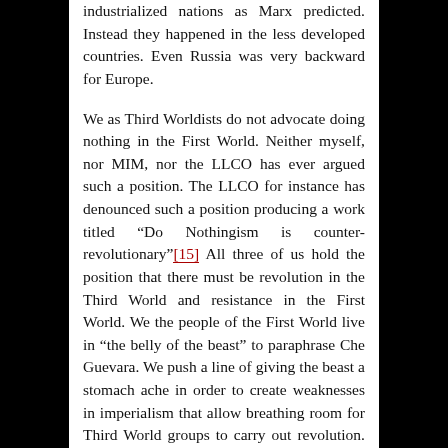industrialized nations as Marx predicted. Instead they happened in the less developed countries. Even Russia was very backward for Europe.

We as Third Worldists do not advocate doing nothing in the First World. Neither myself, nor MIM, nor the LLCO has ever argued such a position. The LLCO for instance has denounced such a position producing a work titled “Do Nothingism is counter-revolutionary”[15] All three of us hold the position that there must be revolution in the Third World and resistance in the First World. We the people of the First World live in “the belly of the beast” to paraphrase Che Guevara. We push a line of giving the beast a stomach ache in order to create weaknesses in imperialism that allow breathing room for Third World groups to carry out revolution. The anti-war movement in the U.S. is a good place to start. Any attempt to end the imperialist wars and end their accompanying occupations creates better conditions for Third World people to struggle. I hold this same line as does MIM. We do not advocate sitting around doing nothing. We believe in not